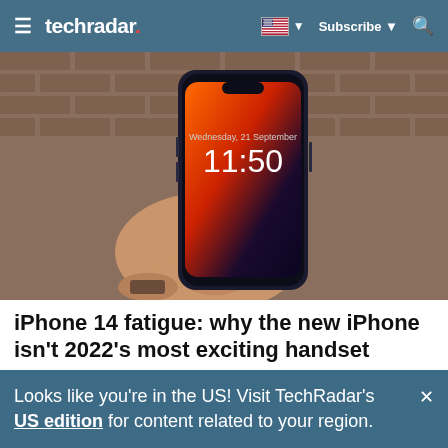≡ techradar. | 🇺🇸 ▼  Subscribe ▼  🔍
[Figure (photo): A hand holding a dark iPhone with the lock screen showing 11:50, against a brick wall background]
iPhone 14 fatigue: why the new iPhone isn't 2022's most exciting handset
The iPhone 14 may be the biggest phone coming at the end of the year, but it's certainly not the most exciting
Looks like you're in the US! Visit TechRadar's US edition for content related to your region.